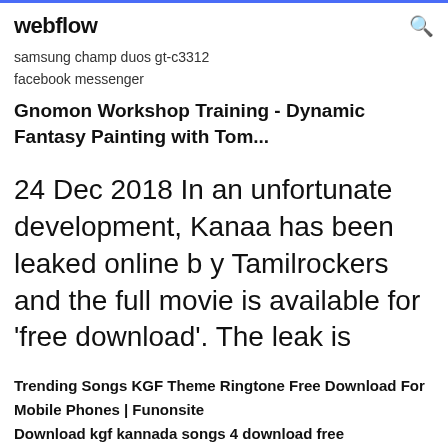webflow
samsung champ duos gt-c3312 facebook messenger
Gnomon Workshop Training - Dynamic Fantasy Painting with Tom...
24 Dec 2018 In an unfortunate development, Kanaa has been leaked online b y Tamilrockers and the full movie is available for 'free download'. The leak is
Trending Songs KGF Theme Ringtone Free Download For Mobile Phones | Funonsite Download kgf kannada songs 4 download free